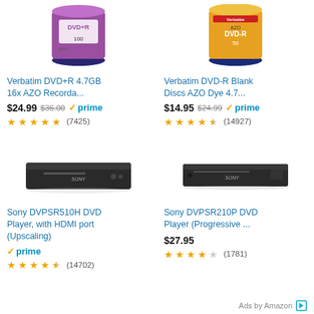[Figure (photo): Verbatim DVD+R 4.7GB 100-disc spindle product image]
[Figure (photo): Verbatim DVD-R Blank Discs AZO Dye 50-disc spindle product image]
Verbatim DVD+R 4.7GB 16x AZO Recorda...
Verbatim DVD-R Blank Discs AZO Dye 4.7...
$24.99  $36.00  ✓prime  ★★★★★ (7425)
$14.95  $24.99  ✓prime  ★★★★½ (14927)
[Figure (photo): Sony DVPSR510H DVD player product image]
[Figure (photo): Sony DVPSR210P DVD player product image]
Sony DVPSR510H DVD Player, with HDMI port (Upscaling)
Sony DVPSR210P DVD Player (Progressive ...
✓prime  ★★★★½ (14702)
$27.95  ★★★★☆ (1781)
Ads by Amazon